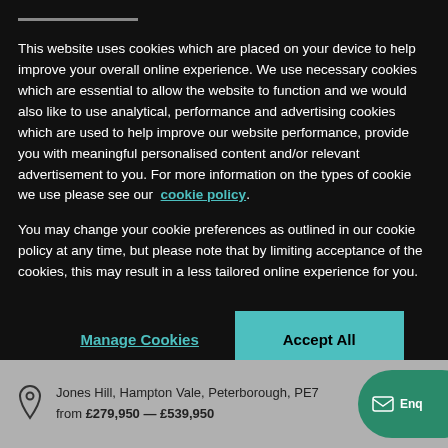This website uses cookies which are placed on your device to help improve your overall online experience. We use necessary cookies which are essential to allow the website to function and we would also like to use analytical, performance and advertising cookies which are used to help improve our website performance, provide you with meaningful personalised content and/or relevant advertisement to you. For more information on the types of cookie we use please see our cookie policy.
You may change your cookie preferences as outlined in our cookie policy at any time, but please note that by limiting acceptance of the cookies, this may result in a less tailored online experience for you.
Manage Cookies
Accept All
Jones Hill, Hampton Vale, Peterborough, PE7
from £279,950 — £539,950